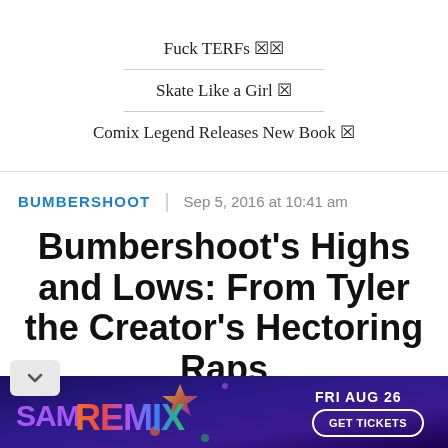Fuck TERFs 🏳️‍⚧️
Skate Like a Girl 🛹
Comix Legend Releases New Book 📚
BUMBERSHOOT  |  Sep 5, 2016 at 10:41 am
Bumbershoot's Highs and Lows: From Tyler the Creator's Hectoring Raps to Reggie Watts' Buttery
[Figure (other): Advertisement banner for SAM REMIX event on FRI AUG 26 with GET TICKETS button, colorful text on dark purple background]